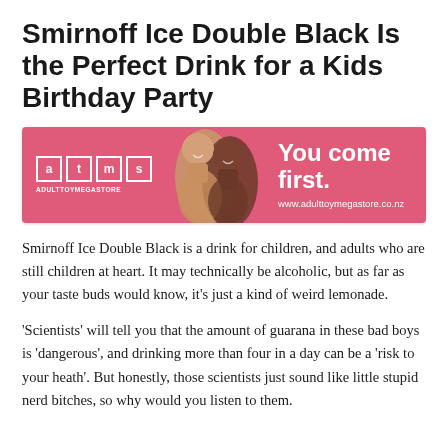Smirnoff Ice Double Black Is the Perfect Drink for a Kids Birthday Party
[Figure (photo): Advertisement banner for Adult Toy Mega Store (atms) with pink background, two people, tagline 'You come first.' and website www.adulttoymegastore.co.nz]
Smirnoff Ice Double Black is a drink for children, and adults who are still children at heart. It may technically be alcoholic, but as far as your taste buds would know, it's just a kind of weird lemonade.
'Scientists' will tell you that the amount of guarana in these bad boys is 'dangerous', and drinking more than four in a day can be a 'risk to your heath'. But honestly, those scientists just sound like little stupid nerd bitches, so why would you listen to them.